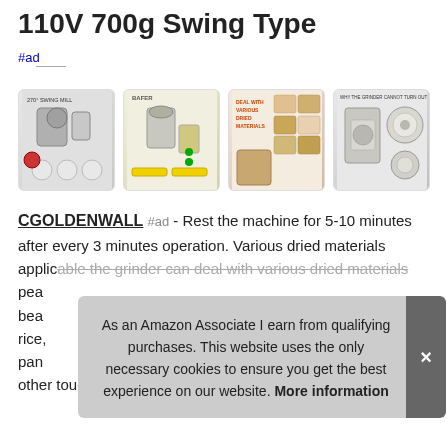110V 700g Swing Type
#ad
[Figure (photo): Four product images of a grain grinder/swing mill: 270-degree swing mill view, BAFER brand grinder with accessories, 'Deal with various dried materials' infographic, and 'Why the grinder cannot turn out' diagram.]
CGOLDENWALL #ad - Rest the machine for 5-10 minutes after every 3 minutes operation. Various dried materials applicable the grinder can deal with various dried materials pea bea rice, pan other tough items, rosemary @herbs ginseng, astragalus
As an Amazon Associate I earn from qualifying purchases. This website uses the only necessary cookies to ensure you get the best experience on our website. More information